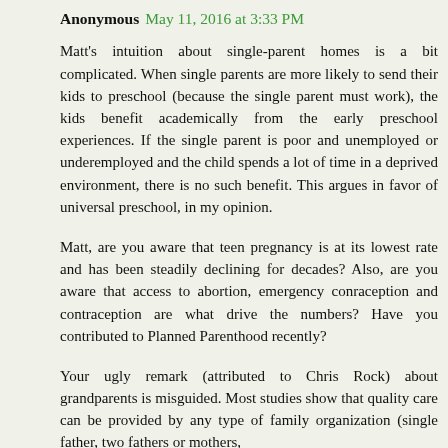Anonymous May 11, 2016 at 3:33 PM
Matt's intuition about single-parent homes is a bit complicated. When single parents are more likely to send their kids to preschool (because the single parent must work), the kids benefit academically from the early preschool experiences. If the single parent is poor and unemployed or underemployed and the child spends a lot of time in a deprived environment, there is no such benefit. This argues in favor of universal preschool, in my opinion.
Matt, are you aware that teen pregnancy is at its lowest rate and has been steadily declining for decades? Also, are you aware that access to abortion, emergency conraception and contraception are what drive the numbers? Have you contributed to Planned Parenthood recently?
Your ugly remark (attributed to Chris Rock) about grandparents is misguided. Most studies show that quality care can be provided by any type of family organization (single father, two fathers or mothers,